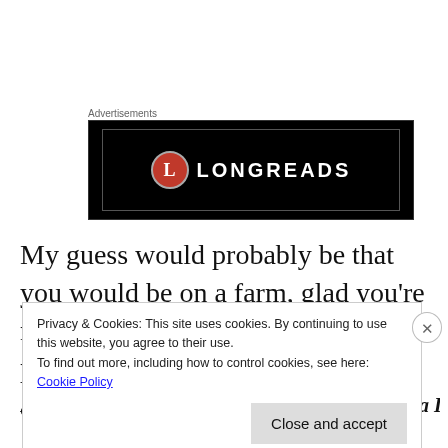Advertisements
[Figure (logo): Longreads logo on black background with red circle containing letter L and text LONGREADS in white]
My guess would probably be that you would be on a farm, glad you’re not a chicken in the presence of the person who asked the question up above.
Is it bad if you go through a carwash with Vanilla Ice?
Privacy & Cookies: This site uses cookies. By continuing to use this website, you agree to their use.
To find out more, including how to control cookies, see here: Cookie Policy
Close and accept